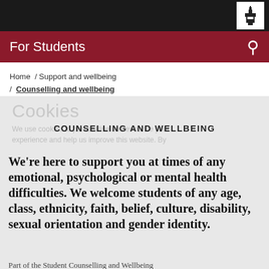For Students
Home / Support and wellbeing / Counselling and wellbeing
Cookies
COUNSELLING AND WELLBEING
We're here to support you at times of any emotional, psychological or mental health difficulties. We welcome students of any age, class, ethnicity, faith, belief, culture, disability, sexual orientation and gender identity.
Part of the Student Counselling and Wellbeing